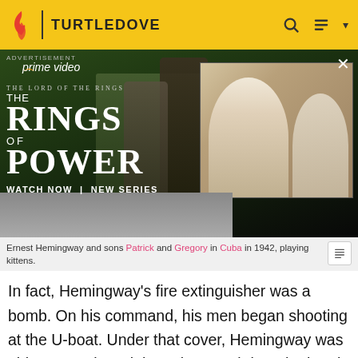TURTLEDOVE
[Figure (photo): Advertisement for Amazon Prime Video - The Lord of the Rings: The Rings of Power. Shows two characters from the show on left, a blonde woman and another character on the right panel. Text reads: THE LORD OF THE RINGS THE RINGS OF POWER WATCH NOW | NEW SERIES]
Ernest Hemingway and sons Patrick and Gregory in Cuba in 1942, playing kittens.
In fact, Hemingway's fire extinguisher was a bomb. On his command, his men began shooting at the U-boat. Under that cover, Hemingway was able to get aboard the U-boat and drop the bomb down the hatch. Hemingway and his men survived the resulting explosion, and escaped in